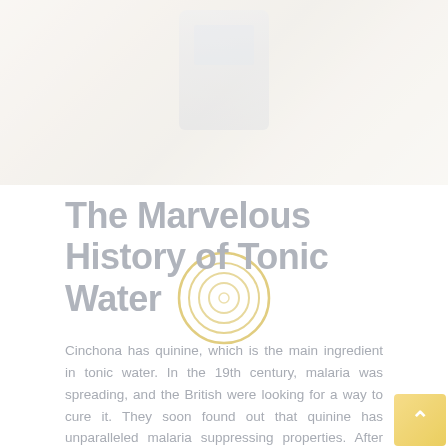[Figure (photo): Faded/washed-out overhead photo of tonic water bottle and glass on a light surface, very pale and desaturated]
The Marvelous History of Tonic Water
Cinchona has quinine, which is the main ingredient in tonic water. In the 19th century, malaria was spreading, and the British were looking for a way to cure it. They soon found out that quinine has unparalleled malaria suppressing properties. After that, cinchona plantations sprung up across India. The British officers were given rations of gin and cinchona bark to help with symptoms of malaria. Plus, they also had citrus fruits for scurvy. And since cinchona bark is very bitter, they chose to combine their gin, lime and cinchona into one morale-boosting anti-malarial super potion. Little did they know they were already creating one of the most popular cocktails...